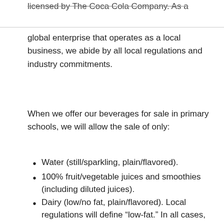licensed by The Coca Cola Company. As a global enterprise that operates as a local business, we abide by all local regulations and industry commitments.
When we offer our beverages for sale in primary schools, we will allow the sale of only:
Water (still/sparkling, plain/flavored).
100% fruit/vegetable juices and smoothies (including diluted juices).
Dairy (low/no fat, plain/flavored). Local regulations will define “low-fat.” In all cases, fat must be ≤2%.
Plant-based drinks (low/no fat, plain/flavored).